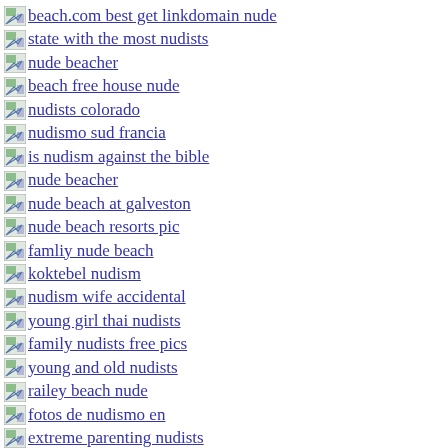beach.com best get linkdomain nude
state with the most nudists
nude beacher
beach free house nude
nudists colorado
nudismo sud francia
is nudism against the bible
nude beacher
nude beach at galveston
nude beach resorts pic
famliy nude beach
koktebel nudism
nudism wife accidental
young girl thai nudists
family nudists free pics
young and old nudists
railey beach nude
fotos de nudismo en
extreme parenting nudists
shaved european nudists
teen nudists hot
hot sexy nude beach volleyball girl pics
naturismo nudismo difference